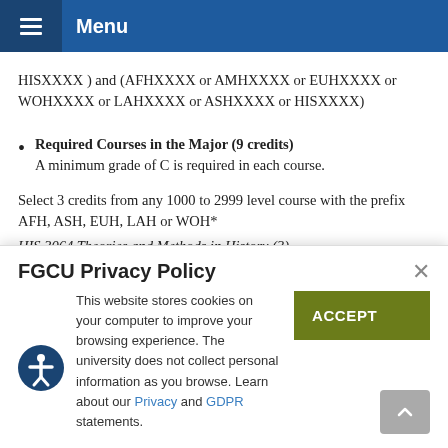Menu
HISXXXX ) and (AFHXXXX or AMHXXXX or EUHXXXX or WOHXXXX or LAHXXXX or ASHXXXX or HISXXXX)
Required Courses in the Major (9 credits)
A minimum grade of C is required in each course.

Select 3 credits from any 1000 to 2999 level course with the prefix AFH, ASH, EUH, LAH or WOH*
HIS 3064 Theories and Methods in History (3)
FGCU Privacy Policy
This website stores cookies on your computer to improve your browsing experience. The university does not collect personal information as you browse. Learn about our Privacy and GDPR statements.